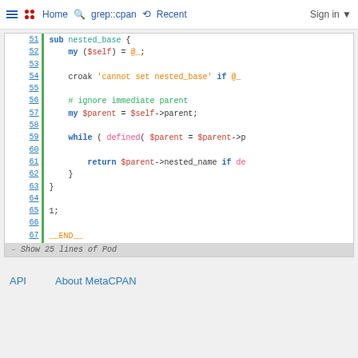Home | grep::cpan | Recent | Sign in
[Figure (screenshot): Syntax-highlighted Perl code viewer showing lines 51-67 of a Perl module. Lines include: sub nested_base { my ($self) = @_; croak 'cannot set nested_base' if @_; # ignore immediate parent; my $parent = $self->parent; while ( defined( $parent = $parent->p... return $parent->nested_name if de... } } 1; __END__. Below is a collapsible 'Show 25 lines of Pod' bar.]
API   About MetaCPAN